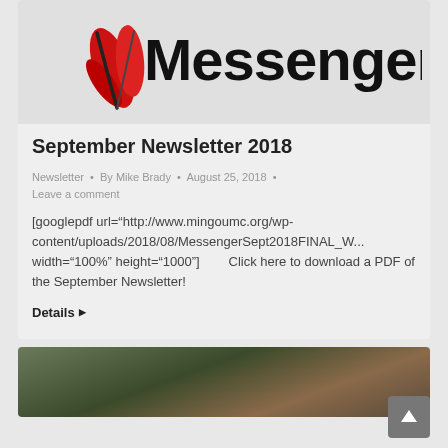[Figure (logo): Messenger newsletter logo with red feather/flame icon and bold 'Messenger' text in black]
September Newsletter 2018
Newsletter • By Mike Brady • August 25, 2018 •
Leave a comment
[googlepdf url="http://www.mingoumc.org/wp-content/uploads/2018/08/MessengerSept2018FINAL_W... width="100%" height="1000"]        Click here to download a PDF of the September Newsletter!
Details ▶
[Figure (photo): Landscape aerial photograph at the bottom of the page, partially visible]